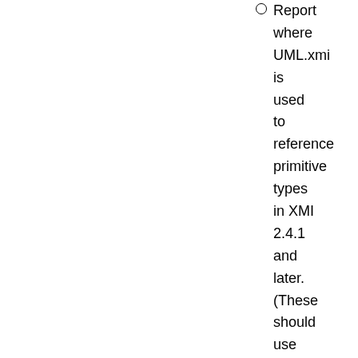Report where UML.xmi is used to reference primitive types in XMI 2.4.1 and later. (These should use PrimitiveType
2014-04-25:
Addressed